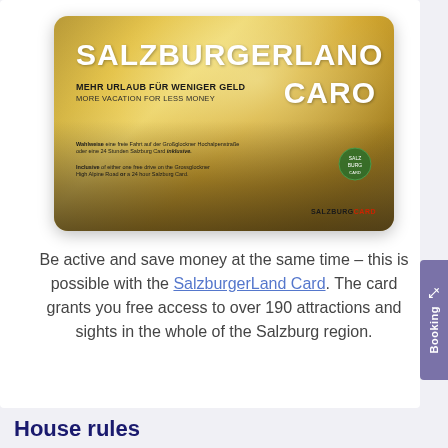[Figure (photo): SalzburgerLand Card promotional image — a golden card with text 'SALZBURGERKAND CARD', 'MEHR URLAUB FÜR WENIGER GELD', 'MORE VACATION FOR LESS MONEY', small print about Großglockner Hochalpenstraße, and Salzburg Card logo.]
Be active and save money at the same time – this is possible with the SalzburgerLand Card. The card grants you free access to over 190 attractions and sights in the whole of the Salzburg region.
House rules